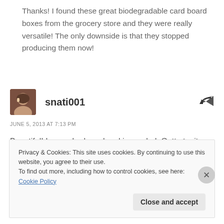Thanks! I found these great biodegradable card board boxes from the grocery store and they were really versatile! The only downside is that they stopped producing them now!
snati001
JUNE 5, 2013 AT 7:13 PM
Beautiful! I never had mackerel in a salad. Gotta try it sometime!
Privacy & Cookies: This site uses cookies. By continuing to use this website, you agree to their use.
To find out more, including how to control cookies, see here: Cookie Policy
Close and accept